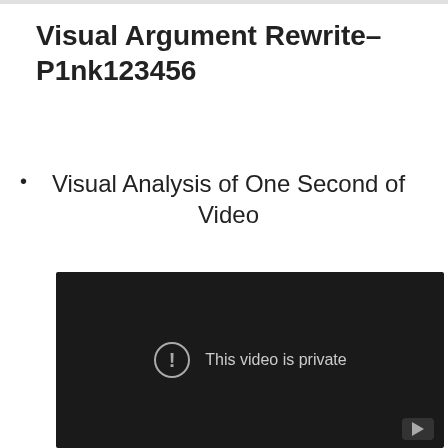Visual Argument Rewrite–P1nk123456
Visual Analysis of One Second of Video
[Figure (screenshot): Embedded video player showing a dark background with an exclamation mark icon inside a circle and the text 'This video is private'. A YouTube play button icon is visible in the bottom-right corner.]